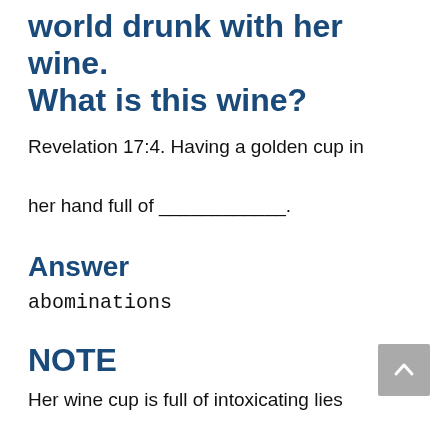world drunk with her wine. What is this wine?
Revelation 17:4. Having a golden cup in her hand full of ___________.
Answer
abominations
NOTE
Her wine cup is full of intoxicating lies